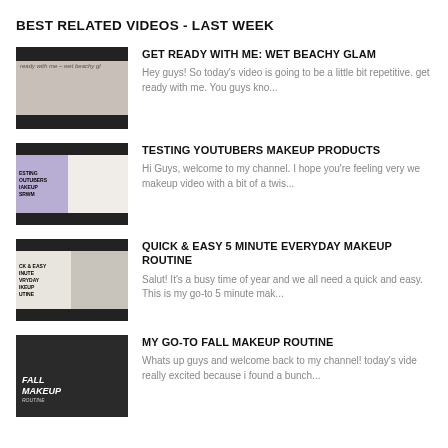BEST RELATED VIDEOS - LAST WEEK
[Figure (screenshot): Video thumbnail for Get Ready With Me: Wet Beachy Glam showing a woman applying makeup with text overlay]
GET READY WITH ME: WET BEACHY GLAM
Hey guys! So today's video is going to be a little bit repetitive. get ready with me. You guys kno...
[Figure (screenshot): Video thumbnail for Testing Youtubers Makeup Products with purple background and text TESTING YOUTUBERS MAKEUP GRWM]
TESTING YOUTUBERS MAKEUP PRODUCTS
Hi Guys, welcome to my channel. I hope you're feeling very we makeup video with a bit of a twis...
[Figure (screenshot): Video thumbnail for Quick & Easy 5 Minute Everyday Makeup Routine with text overlay on left side]
QUICK & EASY 5 MINUTE EVERYDAY MAKEUP ROUTINE
Salut! It's a busy time of year and we all need a quick and easy. This is my go-to 5 minute mak...
[Figure (screenshot): Video thumbnail for My Go-To Fall Makeup Routine showing woman with dark hair and MAKEUP text]
MY GO-TO FALL MAKEUP ROUTINE
Whats up guys and welcome back to my channel! today's vide really excited because i found a bunch...